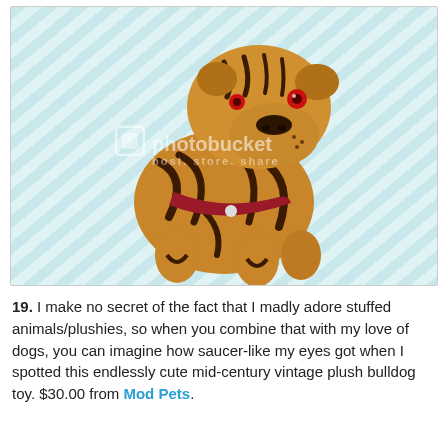[Figure (photo): A vintage plush bulldog toy with tiger-stripe markings, orange and brown fur, red collar with white button, red glass eyes, photographed on a light blue diagonal stripe background. Photobucket watermark overlaid.]
19. I make no secret of the fact that I madly adore stuffed animals/plushies, so when you combine that with my love of dogs, you can imagine how saucer-like my eyes got when I spotted this endlessly cute mid-century vintage plush bulldog toy. $30.00 from Mod Pets.